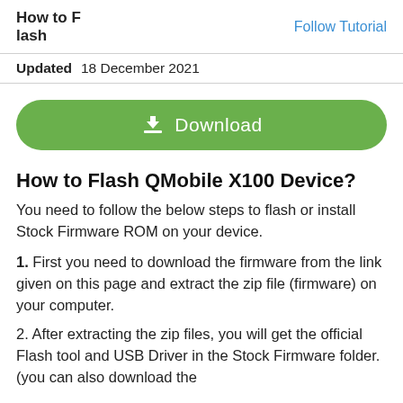How to Flash
Follow Tutorial
Updated  18 December 2021
[Figure (other): Green download button with download icon and text 'Download']
How to Flash QMobile X100 Device?
You need to follow the below steps to flash or install Stock Firmware ROM on your device.
1. First you need to download the firmware from the link given on this page and extract the zip file (firmware) on your computer.
2. After extracting the zip files, you will get the official Flash tool and USB Driver in the Stock Firmware folder. (you can also download the